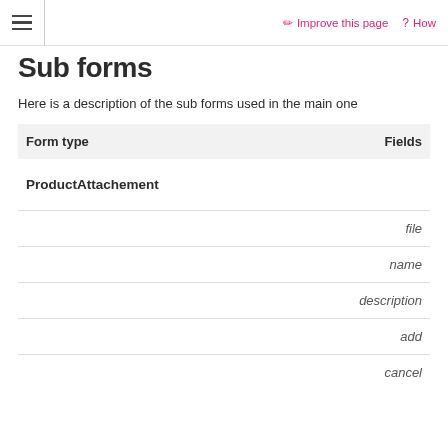≡  ✏ Improve this page  ? How
Sub forms
Here is a description of the sub forms used in the main one
| Form type | Fields |
| --- | --- |
| ProductAttachement |  |
|  | file |
|  | name |
|  | description |
|  | add |
|  | cancel |